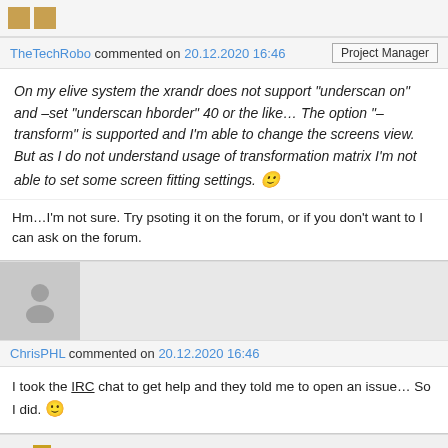[avatar squares top]
TheTechRobo commented on 20.12.2020 16:46 | Project Manager
On my elive system the xrandr does not support "underscan on" and –set "underscan hborder" 40 or the like… The option "–transform" is supported and I'm able to change the screens view. But as I do not understand usage of transformation matrix I'm not able to set some screen fitting settings. 🙂
Hm…I'm not sure. Try psoting it on the forum, or if you don't want to I can ask on the forum.
[Figure (illustration): Gray avatar icon of a person silhouette]
ChrisPHL commented on 20.12.2020 16:46
I took the IRC chat to get help and they told me to open an issue… So I did. 🙂
[Figure (logo): Gold/yellow cross logo icon]
TheTechRobo commented on 20.12.2020 16:48 | Project Manager